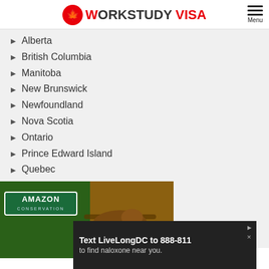WORKSTUDY VISA
Alberta
British Columbia
Manitoba
New Brunswick
Newfoundland
Nova Scotia
Ontario
Prince Edward Island
Quebec
Saskatchewan
Northwest Territories
Nunavut
Yukon
[Figure (photo): Amazon Conservation advertisement with animal on branch]
[Figure (other): Text LiveLongDC to 888-811 to find naloxone near you advertisement]